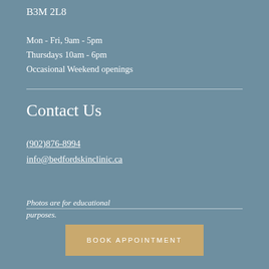B3M 2L8
Mon - Fri, 9am - 5pm
Thursdays 10am - 6pm
Occasional Weekend openings
Contact Us
(902)876-8994
info@bedfordskinclinic.ca
Photos are for educational purposes.
BOOK APPOINTMENT